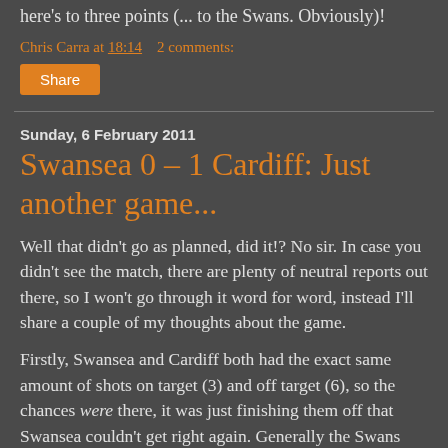here's to three points (... to the Swans. Obviously)!
Chris Carra at 18:14   2 comments:
Share
Sunday, 6 February 2011
Swansea 0 – 1 Cardiff: Just another game...
Well that didn't go as planned, did it!? No sir. In case you didn't see the match, there are plenty of neutral reports out there, so I won't go through it word for word, instead I'll share a couple of my thoughts about the game.
Firstly, Swansea and Cardiff both had the exact same amount of shots on target (3) and off target (6), so the chances were there, it was just finishing them off that Swansea couldn't get right again. Generally the Swans were much better in the second half after a poor start (almost an abysmal start, had Bothroyd's 30-second strike gone in). Th...